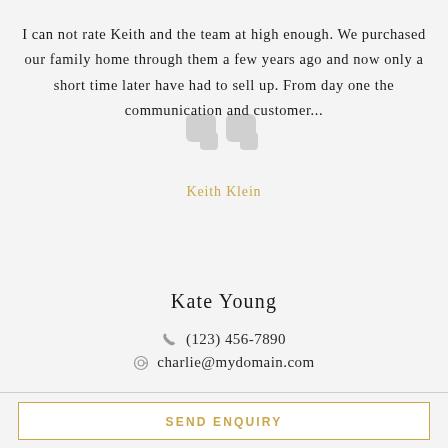I can not rate Keith and the team at high enough. We purchased our family home through them a few years ago and now only a short time later have had to sell up. From day one the communication and customer...
Keith Klein
Kate Young
(123) 456-7890
charlie@mydomain.com
SEND ENQUIRY